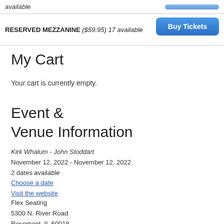available
RESERVED MEZZANINE ($59.95) 17 available
My Cart
Your cart is currently empty.
Event & Venue Information
Kirk Whalum - John Stoddart
November 12, 2022 - November 12, 2022
2 dates available
Choose a date
Visit the website
Flex Seating
5300 N. River Road
Rosemont, IL 60018